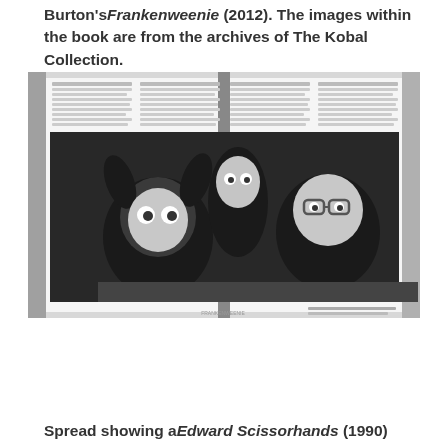Burton's Frankenweenie (2012). The images within the book are from the archives of The Kobal Collection.
[Figure (photo): Open book showing a spread with black-and-white images from Frankenweenie (2012). The visible pages show animated characters from the film — including stop-motion figures of children in a classroom setting — alongside text columns.]
Spread showing a Edward Scissorhands (1990)